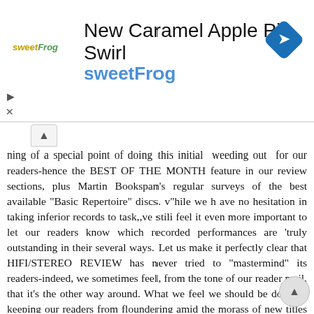[Figure (screenshot): Advertisement banner for sweetFrog 'New Caramel Apple Pie Swirl' with logo, text, and blue diamond navigation icon]
ning of a special point of doing this initial weeding out for our readers-hence the BEST OF THE MONTH feature in our review sections, plus Martin Bookspan's regular surveys of the best available "Basic Repertoire" discs. v"hile we h ave no hesitation in taking inferior records to task,,ve stili feel it even more important to let our readers know which recorded performances are 'truly outstanding in their several ways. Let us make it perfectly clear that HIFI/STEREO REVIEW has never tried to "mastermind" its readers-indeed, we sometimes feel, from the tone of our reader mail, that it's the other way around. What we feel we should be doing is keeping our readers from floundering amid the morass of new titles and offering them the opportunity to expand their realm of musical experience through the exploralion of the significant literature of recorded music, old or new, light or serious, and as played by the finest artists of today and yesterday. A readership of informed record buyers, that